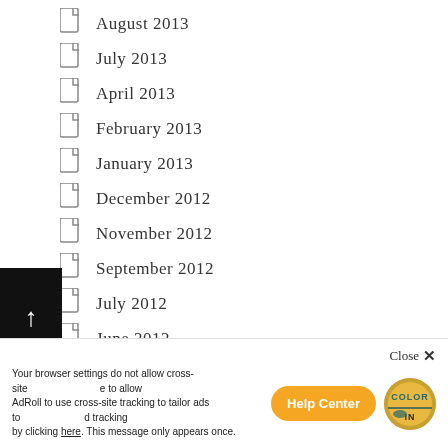August 2013
July 2013
April 2013
February 2013
January 2013
December 2012
November 2012
September 2012
July 2012
June 2012
May 2012
April 2012
February 2012
January 2012
November 2011
October 2011
September 2011
July 2011
Your browser settings do not allow cross-site … AdRoll to use cross-site tracking to tailor ads to… by clicking here. This message only appears once.